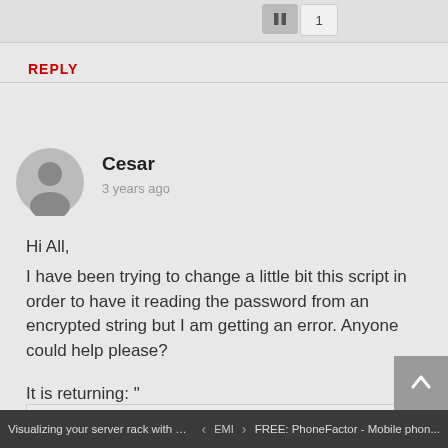REPLY
Cesar
3 years ago
Hi All,
I have been trying to change a little bit this script in order to have it reading the password from an encrypted string but I am getting an error. Anyone could help please?
It is returning: "
FAILED,"Exception calling ""Invoke"" with ""2"" argument(s): ""Type mismatch. (Exception from HRESULT: 0x80020005 (DISP_E_TYPEMISMATCH))""
Visualizing your server rack with Mi...  <  EMI  >  FREE: PhoneFactor - Mobile phon...